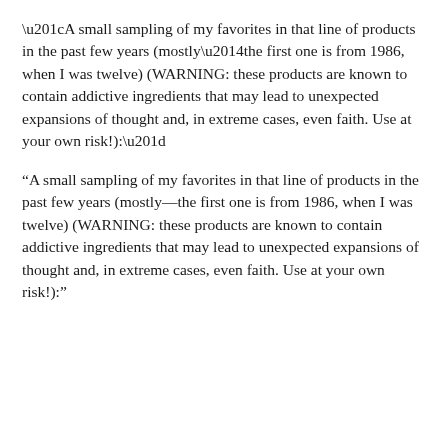“A small sampling of my favorites in that line of products in the past few years (mostly—the first one is from 1986, when I was twelve) (WARNING: these products are known to contain addictive ingredients that may lead to unexpected expansions of thought and, in extreme cases, even faith. Use at your own risk!):”
A Thoughtful Faith: Essays on Belief (edited by Philip L. Barlow)
Joseph Smith, Rough Stone Rolling (Richard L. Bushman, Jed Woodworth)
This is My Doctrine (Charles R. Harrell)
Leonard Arrington and the Writing of Mormon History (Gregory A. Prince) (taken before or after Prince’s earlier David O. McKay and the Rise of Modern Mormonism)
Planted: Belief and Faith in an Age of Doubt (Patrick Q. Mason)